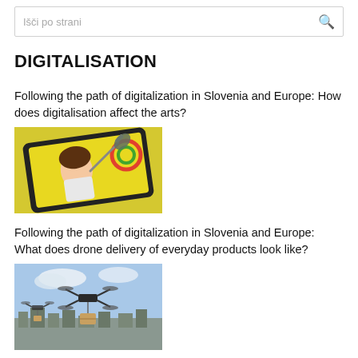Išči po strani
DIGITALISATION
Following the path of digitalization in Slovenia and Europe: How does digitalisation affect the arts?
[Figure (photo): A hand drawing a cartoon woman on a digital tablet with a stylus, yellow background with colorful artwork]
Following the path of digitalization in Slovenia and Europe: What does drone delivery of everyday products look like?
[Figure (photo): Drones flying over a city skyline carrying packages against a cloudy sky]